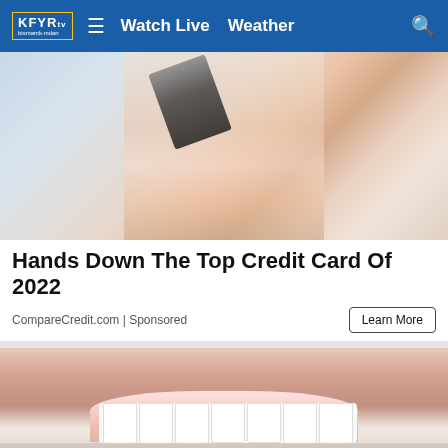KFYR | Watch Live  Weather
[Figure (photo): Woman with blonde hair in pink top holding up a dark credit card and smiling]
Hands Down The Top Credit Card Of 2022
CompareCredit.com | Sponsored
[Figure (photo): Close-up of a woman smiling showing bright white teeth with pink lipstick]
READ MORE